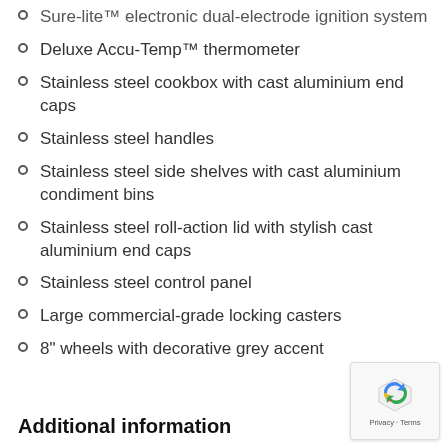Sure-lite™ electronic dual-electrode ignition system
Deluxe Accu-Temp™ thermometer
Stainless steel cookbox with cast aluminium end caps
Stainless steel handles
Stainless steel side shelves with cast aluminium condiment bins
Stainless steel roll-action lid with stylish cast aluminium end caps
Stainless steel control panel
Large commercial-grade locking casters
8" wheels with decorative grey accent
Additional information